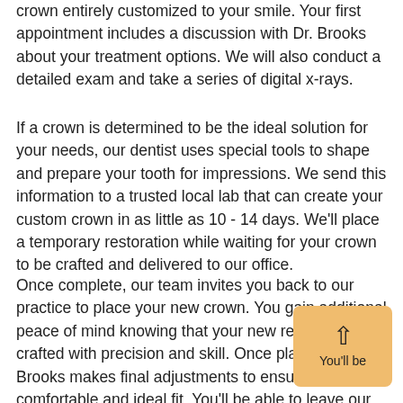crown entirely customized to your smile. Your first appointment includes a discussion with Dr. Brooks about your treatment options. We will also conduct a detailed exam and take a series of digital x-rays.
If a crown is determined to be the ideal solution for your needs, our dentist uses special tools to shape and prepare your tooth for impressions. We send this information to a trusted local lab that can create your custom crown in as little as 10 - 14 days. We'll place a temporary restoration while waiting for your crown to be crafted and delivered to our office.
Once complete, our team invites you back to our practice to place your new crown. You gain additional peace of mind knowing that your new restoration is crafted with precision and skill. Once placed, Dr. Brooks makes final adjustments to ensure a comfortable and ideal fit. You'll be able to leave our office speaking and smiling with complete confidence!